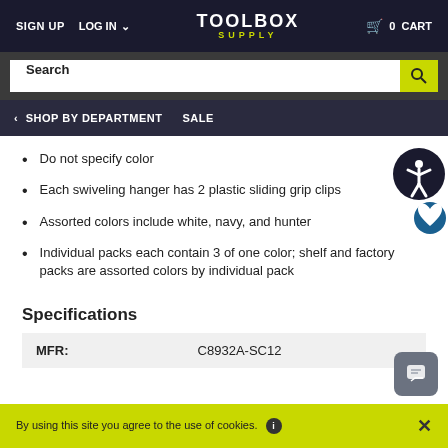SIGN UP  LOG IN  TOOLBOX SUPPLY  0 CART
Search
< SHOP BY DEPARTMENT  SALE
Do not specify color
Each swiveling hanger has 2 plastic sliding grip clips
Assorted colors include white, navy, and hunter
Individual packs each contain 3 of one color; shelf and factory packs are assorted colors by individual pack
Specifications
| MFR: |  |
| --- | --- |
| MFR: | C8932A-SC12 |
By using this site you agree to the use of cookies.